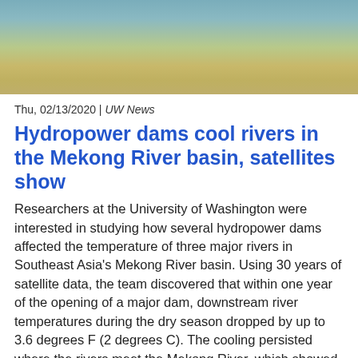[Figure (photo): Aerial or close-up view of a river or water body showing greenish-yellow water surface]
Thu, 02/13/2020 | UW News
Hydropower dams cool rivers in the Mekong River basin, satellites show
Researchers at the University of Washington were interested in studying how several hydropower dams affected the temperature of three major rivers in Southeast Asia's Mekong River basin. Using 30 years of satellite data, the team discovered that within one year of the opening of a major dam, downstream river temperatures during the dry season dropped by up to 3.6 degrees F (2 degrees C). The cooling persisted where the rivers meet the Mekong River, which showed, at most, a 1.4 F (0.8 C) cooling.